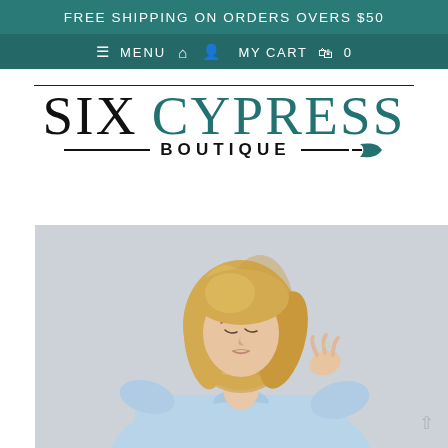FREE SHIPPING ON ORDERS OVERS $50
≡ MENU  🏠  👤  MY CART  🛍  0
[Figure (logo): Six Cypress Boutique logo with teal and black text, decorative lines and leaf arrow motif]
[Figure (photo): Blonde woman wearing a light blue chambray button-up shirt, looking down and touching her hair, photographed against a light gray background]